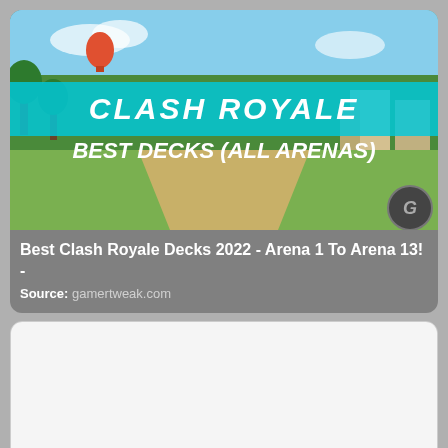[Figure (screenshot): Clash Royale game screenshot with cyan banner text CLASH ROYALE and white bold text BEST DECKS (ALL ARENAS) overlaid on a game scene]
Best Clash Royale Decks 2022 - Arena 1 To Arena 13! - Source: gamertweak.com
[Figure (screenshot): Blank white image placeholder for a second Clash Royale decks article]
Clash Royale: best decks for Arena 4, 2021 / 2022 -